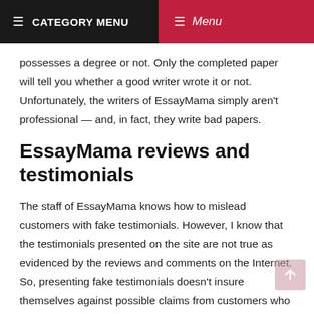≡ CATEGORY MENU   ≡ Menu
possesses a degree or not. Only the completed paper will tell you whether a good writer wrote it or not. Unfortunately, the writers of EssayMama simply aren't professional — and, in fact, they write bad papers.
EssayMama reviews and testimonials
The staff of EssayMama knows how to mislead customers with fake testimonials. However, I know that the testimonials presented on the site are not true as evidenced by the reviews and comments on the Internet. So, presenting fake testimonials doesn't insure themselves against possible claims from customers who can leave them on other sites.
Conclu...